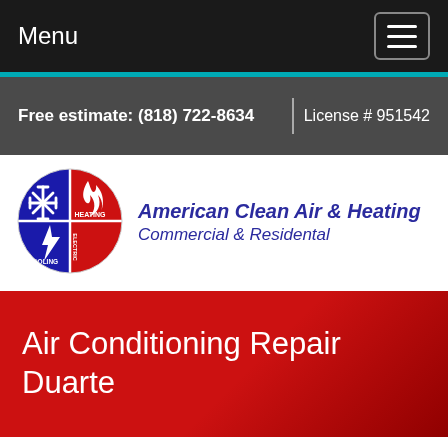Menu
Free estimate: (818) 722-8634  |  License # 951542
[Figure (logo): American Clean Air & Heating circular logo divided into quadrants: blue/white snowflake (COOLING), red flame (HEATING), lightning bolt (ELECTRIC) on blue/red background]
American Clean Air & Heating Commercial & Residental
Air Conditioning Repair Duarte
Duarte HVAC Services
Air Conditioning Repair in Duarte